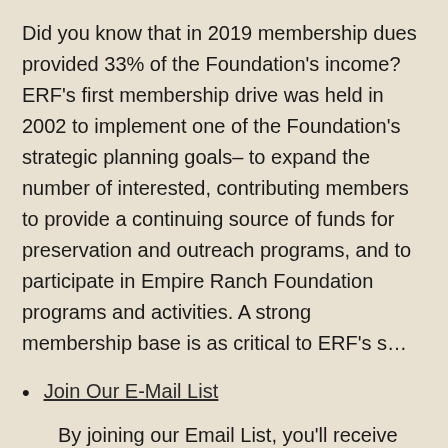Did you know that in 2019 membership dues provided 33% of the Foundation's income? ERF's first membership drive was held in 2002 to implement one of the Foundation's strategic planning goals– to expand the number of interested, contributing members to provide a continuing source of funds for preservation and outreach programs, and to participate in Empire Ranch Foundation programs and activities. A strong membership base is as critical to ERF's s…
Join Our E-Mail List
By joining our Email List, you'll receive occasional E-News communications, providing the latest information about events and activities at the Empire Ranch. Please know that you can easily unsubscribe at any time by sending us an email